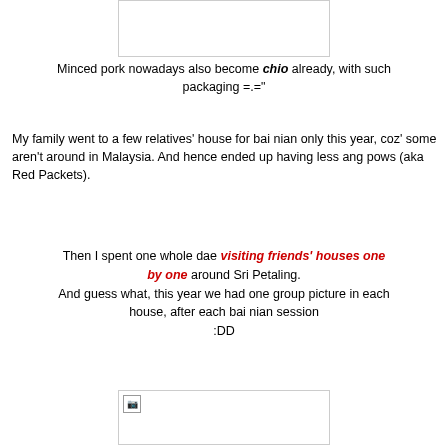[Figure (photo): Top image placeholder (cropped photo, partial view)]
Minced pork nowadays also become chio already, with such packaging =.="
My family went to a few relatives’ house for bai nian only this year, coz’ some aren’t around in Malaysia. And hence ended up having less ang pows (aka Red Packets).
Then I spent one whole dae visiting friends’ houses one by one around Sri Petaling.
And guess what, this year we had one group picture in each house, after each bai nian session
:DD
[Figure (photo): Bottom image placeholder (group photo or related image)]